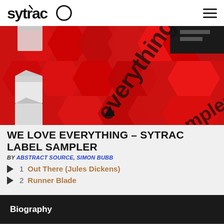sytrac [logo] [hamburger menu]
[Figure (photo): Hero image showing red hexagonal 3D tiles with the words 'everything' and 'Sampler' overlaid, along with some white/grey cube shapes on a red background.]
WE LOVE EVERYTHING – SYTRAC LABEL SAMPLER
BY ABSTRACT SOURCE, SIMON BUBB
1  Out There (Jules Dickens)
2  Runner Blade
Biography